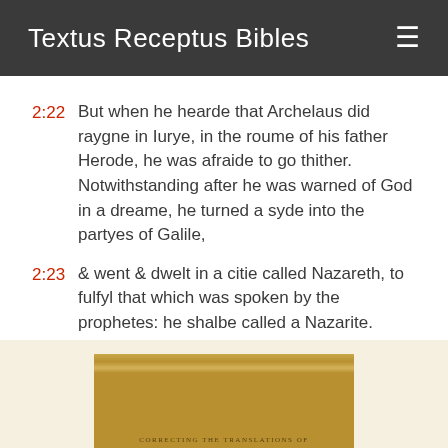Textus Receptus Bibles
2:22 But when he hearde that Archelaus did raygne in Iurye, in the roume of his father Herode, he was afraide to go thither. Notwithstanding after he was warned of God in a dreame, he turned a syde into the partyes of Galile,
2:23 & went & dwelt in a citie called Nazareth, to fulfyl that which was spoken by the prophetes: he shalbe called a Nazarite.
Next Chapter »
[Figure (photo): Bottom portion of a book cover with gold/tan coloring and text reading 'CORRECTING THE TRANSLATIONS OF']